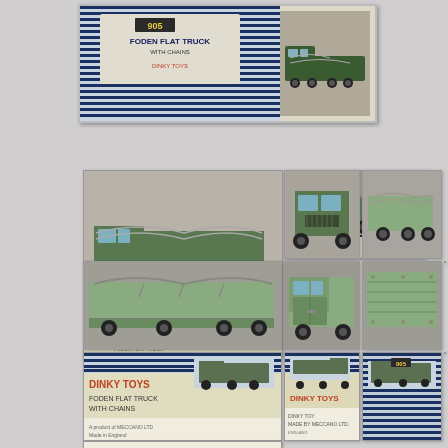[Figure (photo): Wide shot of a Dinky Toys No. 905 Foden Flat Truck with Chains box. The box shows blue and white stripes with the number 905 and text 'FODEN FLAT TRUCK WITH CHAINS'. A green die-cast truck is visible to the right side of the box.]
[Figure (photo): Grid of 13 thumbnail photographs showing a Dinky Toys No. 905 Foden Flat Truck (green) from various angles: side views, top views, close-ups of the cab, flat bed, chains, and the original box packaging.]